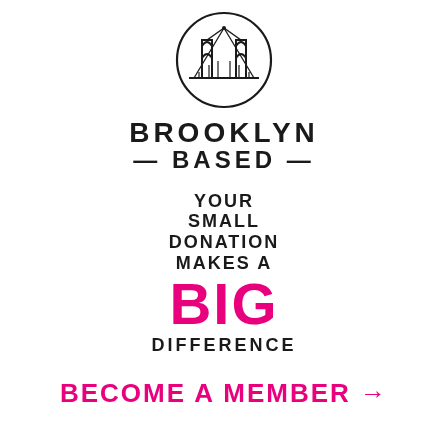[Figure (logo): Brooklyn Based logo — circular emblem depicting Brooklyn Bridge silhouette with gothic arch towers inside a circle, drawn in black outline style]
BROOKLYN — BASED —
YOUR SMALL DONATION MAKES A BIG DIFFERENCE
BECOME A MEMBER →